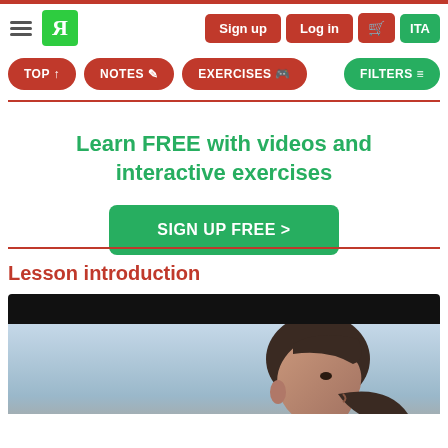Sign up | Log in | ITA
TOP ↑ | NOTES ✎ | EXERCISES 🎮 | FILTERS ☰
Learn FREE with videos and interactive exercises
SIGN UP FREE >
Lesson introduction
[Figure (photo): Video player showing a woman's profile/side face against a light sky background, with a black bar at top representing video controls area.]